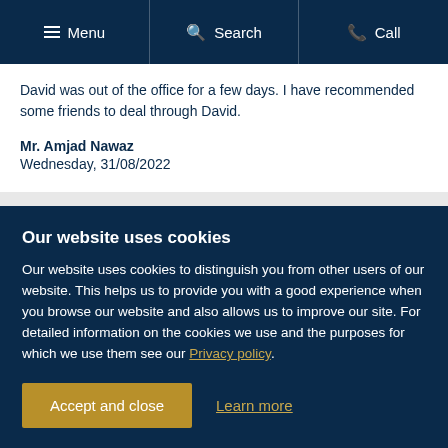Menu | Search | Call
David was out of the office for a few days. I have recommended some friends to deal through David.

Mr. Amjad Nawaz
Wednesday, 31/08/2022
See other relevant deals
[Figure (screenshot): Two deal cards side by side — one white and one dark navy]
Our website uses cookies

Our website uses cookies to distinguish you from other users of our website. This helps us to provide you with a good experience when you browse our website and also allows us to improve our site. For detailed information on the cookies we use and the purposes for which we use them see our Privacy policy.

Accept and close   Learn more